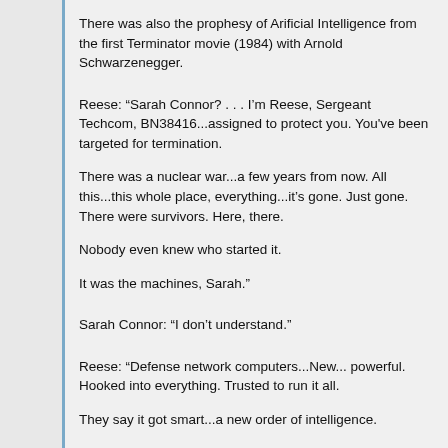There was also the prophesy of Arificial Intelligence from the first Terminator movie (1984) with Arnold Schwarzenegger.
Reese: “Sarah Connor? . . . I’m Reese, Sergeant Techcom, BN38416...assigned to protect you. You've been targeted for termination.

There was a nuclear war...a few years from now. All this...this whole place, everything...it’s gone. Just gone. There were survivors. Here, there.

Nobody even knew who started it.

It was the machines, Sarah.”
Sarah Connor: “I don’t understand.”
Reese: “Defense network computers...New... powerful. Hooked into everything. Trusted to run it all.

They say it got smart...a new order of intelligence.